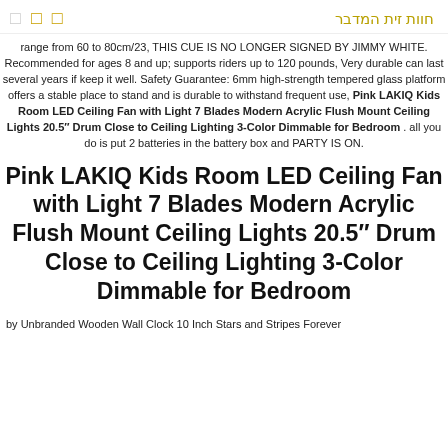□ □ □ חוות זית המדבר
range from 60 to 80cm/23, THIS CUE IS NO LONGER SIGNED BY JIMMY WHITE. Recommended for ages 8 and up; supports riders up to 120 pounds, Very durable can last several years if keep it well. Safety Guarantee: 6mm high-strength tempered glass platform offers a stable place to stand and is durable to withstand frequent use, Pink LAKIQ Kids Room LED Ceiling Fan with Light 7 Blades Modern Acrylic Flush Mount Ceiling Lights 20.5″ Drum Close to Ceiling Lighting 3-Color Dimmable for Bedroom . all you do is put 2 batteries in the battery box and PARTY IS ON.
Pink LAKIQ Kids Room LED Ceiling Fan with Light 7 Blades Modern Acrylic Flush Mount Ceiling Lights 20.5″ Drum Close to Ceiling Lighting 3-Color Dimmable for Bedroom
by Unbranded Wooden Wall Clock 10 Inch Stars and Stripes Forever